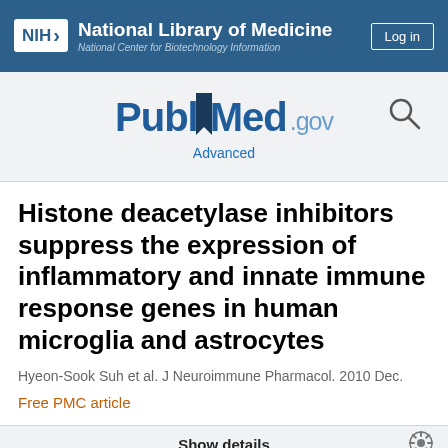NIH National Library of Medicine National Center for Biotechnology Information | Log in
[Figure (logo): PubMed.gov logo with search icon and Advanced link]
Histone deacetylase inhibitors suppress the expression of inflammatory and innate immune response genes in human microglia and astrocytes
Hyeon-Sook Suh et al. J Neuroimmune Pharmacol. 2010 Dec.
Free PMC article
Show details